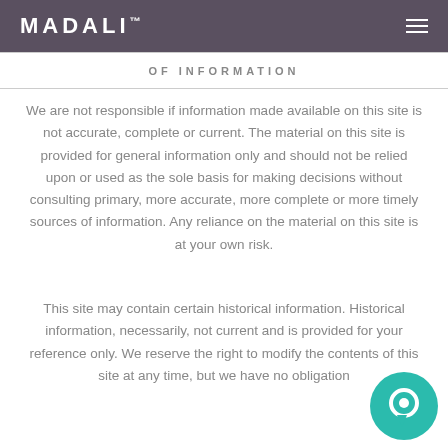MADALI™
OF INFORMATION
We are not responsible if information made available on this site is not accurate, complete or current. The material on this site is provided for general information only and should not be relied upon or used as the sole basis for making decisions without consulting primary, more accurate, more complete or more timely sources of information. Any reliance on the material on this site is at your own risk.
This site may contain certain historical information. Historical information, necessarily, not current and is provided for your reference only. We reserve the right to modify the contents of this site at any time, but we have no obligation